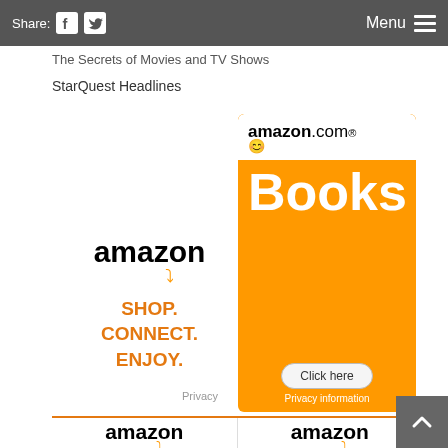Share: [facebook] [twitter]   Menu ☰
The Secrets of Movies and TV Shows
StarQuest Headlines
[Figure (screenshot): Amazon advertisement: large left ad showing 'amazon' logo with orange arrow, text 'SHOP. CONNECT. ENJOY.' in orange, and 'Privacy' text at bottom. Right ad showing amazon.com Books on orange background with white top panel containing amazon.com logo, 'Books' in white large text, a 'Click here' button, and 'Privacy information' text.]
[Figure (screenshot): Two Amazon product ads side by side at bottom, each showing 'amazon' logo with orange arrow. Left shows a smoke detector product image, right shows 'The Great Wave' book cover.]
[Figure (screenshot): Back to top button (dark grey square with upward chevron) in bottom right corner.]